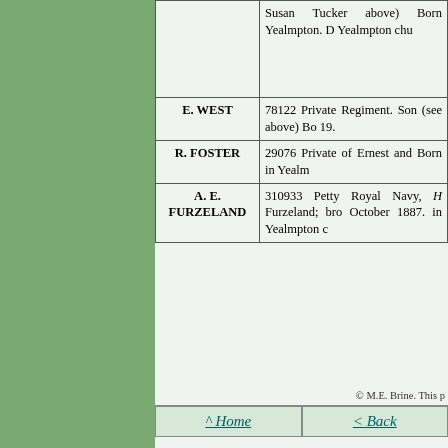| Name | Description |
| --- | --- |
|  | Susan Tucker above) Born Yealmpton. D Yealmpton chu |
| E. WEST | 78122 Private Regiment. Son (see above) Bo 19. |
| R. FOSTER | 29076 Private of Ernest and Born in Yealm |
| A. E. FURZELAND | 310933 Petty Royal Navy, H Furzeland; bro October 1887. in Yealmpton c |
© M.E. Brine. This p
^ Home
< Back